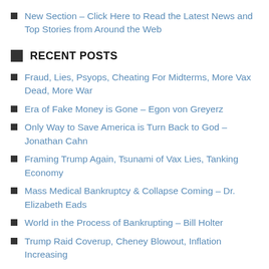New Section – Click Here to Read the Latest News and Top Stories from Around the Web
RECENT POSTS
Fraud, Lies, Psyops, Cheating For Midterms, More Vax Dead, More War
Era of Fake Money is Gone – Egon von Greyerz
Only Way to Save America is Turn Back to God – Jonathan Cahn
Framing Trump Again, Tsunami of Vax Lies, Tanking Economy
Mass Medical Bankruptcy & Collapse Coming – Dr. Elizabeth Eads
World in the Process of Bankrupting – Bill Holter
Trump Raid Coverup, Cheney Blowout, Inflation Increasing